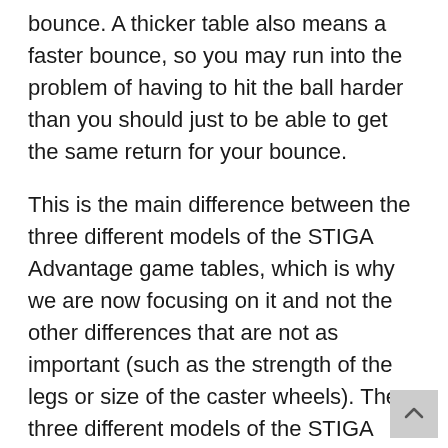bounce. A thicker table also means a faster bounce, so you may run into the problem of having to hit the ball harder than you should just to be able to get the same return for your bounce.
This is the main difference between the three different models of the STIGA Advantage game tables, which is why we are now focusing on it and not the other differences that are not as important (such as the strength of the legs or size of the caster wheels). The three different models of the STIGA Advantage Table are called the Advantage Lite, the Advantage, and the Advantage Pro.